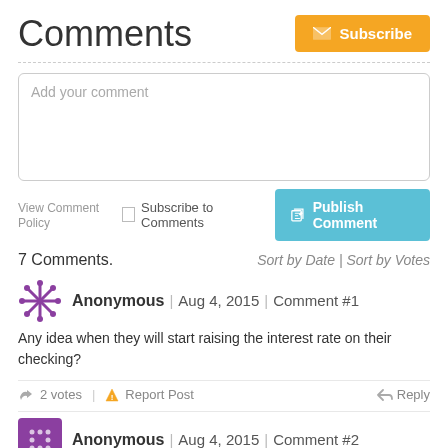Comments
[Figure (other): Orange Subscribe button with envelope icon]
[Figure (other): Comment text input box with placeholder 'Add your comment']
View Comment Policy
Subscribe to Comments
[Figure (other): Teal Publish Comment button with edit icon]
7 Comments.
Sort by Date | Sort by Votes
[Figure (other): Anonymous user avatar 1 - snowflake/asterisk icon]
Anonymous | Aug 4, 2015 | Comment #1
Any idea when they will start raising the interest rate on their checking?
2 votes | Report Post   Reply
[Figure (other): Anonymous user avatar 2 - purple square with dots]
Anonymous | Aug 4, 2015 | Comment #2
Or their anemic HSA rate of .65%